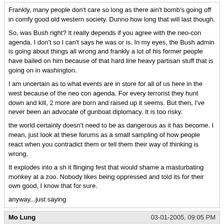Frankly, many people don't care so long as there ain't bomb's going off in comfy good old western society. Dunno how long that will last though.

So, was Bush right? It really depends if you agree with the neo-con agenda. I don't so I can't says he was or is. In my eyes, the Bush admin is going about things all wrong and frankly a lot of his former people have bailed on him because of that hard line heavy partisan stuff that is going on in washington.

I am uncertain as to what events are in store for all of us here in the west because of the neo con agenda. For every terrorist they hunt down and kill, 2 more are born and raised up it seems. But then, I've never been an advocate of gunboat diplomacy. It is too risky.

the world certainly doesn't need to be as dangerous as it has become. I mean, just look at these forums as a small sampling of how people react when you contradict them or tell them their way of thinking is wrong.

It explodes into a sh it flinging fest that would shame a masturbating monkey at a zoo. Nobody likes being oppressed and told its for their own good, I know that for sure.

anyway...just saying
Mo Lung — 03-01-2005, 09:05 PM

I don't want to jump the gun but could Iraq have been the first in a line of dominos? I figured when I heard Daniel Shore say Bush might have been right that the idea might have legs. And if so does it make the sacrifice of our people worth it to the anti-war crowd.
Right about what specifically?
wdl — 03-01-2005, 10:00 PM

Anyone hear what former UN weapons inspector Scott Ritter has had to say about stuff lately? According to some sources, he thinks you yanks will try to